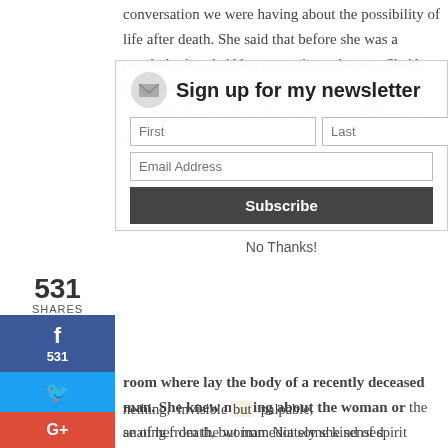conversation we were having about the possibility of life after death. She said that before she was a psychologist, she'd been a registered nurse. She'd been with a lot of people as they died, and she'd never had the sensation of a spirit or soul-like essence departing the body at the moment of death.
[Figure (other): Newsletter signup overlay with title 'Sign up for my newsletter', First/Last name fields, Email Address field, Subscribe button, and No Thanks link]
there had been something that had occurred that was very strange. Once she had happened to go into a room where lay the body of a recently deceased woman. She knew nothing about the woman or the cause of her death, but immediately she sensed something, invisible but palpable, emanating from the woman. Not some kind of spirit entity, but an emotion. Anger. Fury. Rage.
an left the room. She asked another nurse what had happened to the woman. She was told she'd committed suicide. She had left a note addressed to
531 SHARES
531 (Facebook)
Twitter
Google+
WhatsApp
Email